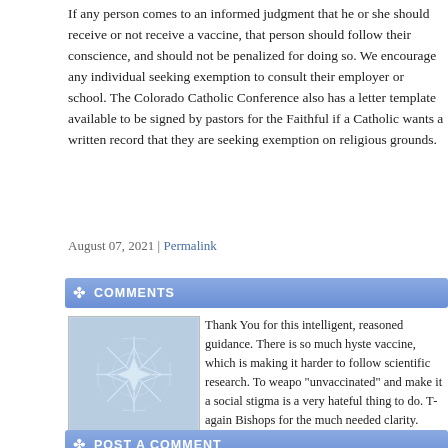If any person comes to an informed judgment that he or she should receive or not receive a vaccine, that person should follow their conscience, and should not be penalized for doing so. We encourage any individual seeking exemption to consult their employer or school. The Colorado Catholic Conference also has a letter template available to be signed by pastors for the Faithful if a Catholic wants a written record that they are seeking exemption on religious grounds.
August 07, 2021 | Permalink
COMMENTS
[Figure (illustration): Decorative geometric snowflake/star pattern avatar image in blue-grey tones]
Thank You for this intelligent, reasoned guidance. There is so much hyste... vaccine, which is making it harder to follow scientific research. To weapo... "unvaccinated" and make it a social stigma is a very hateful thing to do. T... again Bishops for the much needed clarity.

Posted by: catherine Adago | August 11, 2021 at 10:47 AM
POST A COMMENT
Comment below or sign in with Typepad Facebook Twitter and more...